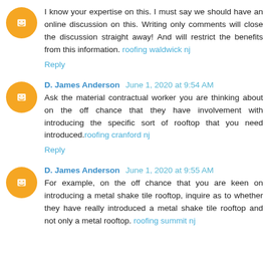I know your expertise on this. I must say we should have an online discussion on this. Writing only comments will close the discussion straight away! And will restrict the benefits from this information. roofing waldwick nj
Reply
D. James Anderson June 1, 2020 at 9:54 AM
Ask the material contractual worker you are thinking about on the off chance that they have involvement with introducing the specific sort of rooftop that you need introduced.roofing cranford nj
Reply
D. James Anderson June 1, 2020 at 9:55 AM
For example, on the off chance that you are keen on introducing a metal shake tile rooftop, inquire as to whether they have really introduced a metal shake tile rooftop and not only a metal rooftop. roofing summit nj